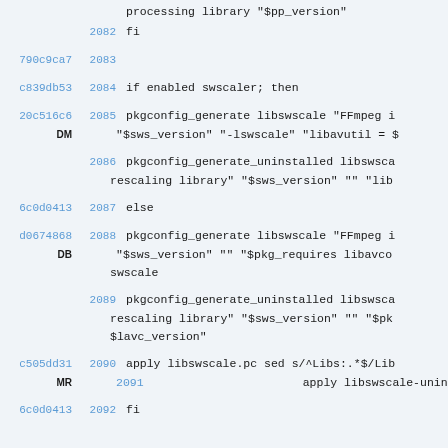processing library "$pp_version"
2082  fi
790c9ca7  2083
c839db53  2084  if enabled swscaler; then
20c516c6 DM  2085  pkgconfig_generate libswscale "FFmpeg i  "$sws_version" "-lswscale" "libavutil = $
2086  pkgconfig_generate_uninstalled libswsca  rescaling library" "$sws_version" "" "lib
6c0d0413  2087  else
d0674868 DB  2088  pkgconfig_generate libswscale "FFmpeg i  "$sws_version" "" "$pkg_requires libavco  swscale
2089  pkgconfig_generate_uninstalled libswsca  rescaling library" "$sws_version" "" "$p  $lavc_version"
c505dd31 MR  2090  apply libswscale.pc sed s/^Libs:.*$/Lib  2091  apply libswscale-uninstalled.pc sed s/^
6c0d0413  2092  fi